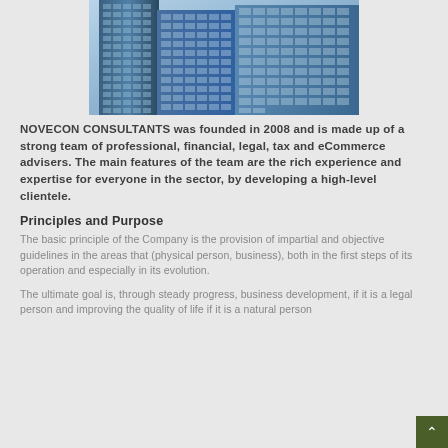[Figure (photo): Blue glass office skyscrapers viewed from below against sky]
NOVECON CONSULTANTS was founded in 2008 and is made up of a strong team of professional, financial, legal, tax and eCommerce advisers. The main features of the team are the rich experience and expertise for everyone in the sector, by developing a high-level clientele.
Principles and Purpose
The basic principle of the Company is the provision of impartial and objective guidelines in the areas that (physical person, business), both in the first steps of its operation and especially in its evolution.
The ultimate goal is, through steady progress, business development, if it is a legal person and improving the quality of life if it is a natural person